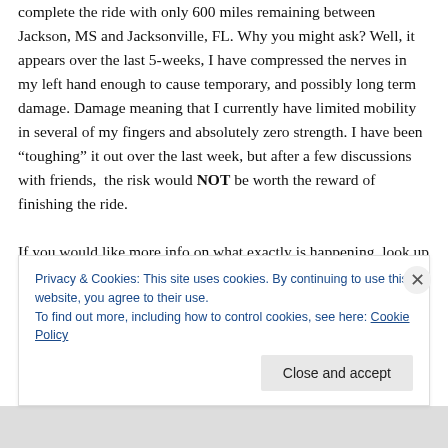complete the ride with only 600 miles remaining between Jackson, MS and Jacksonville, FL. Why you might ask? Well, it appears over the last 5-weeks, I have compressed the nerves in my left hand enough to cause temporary, and possibly long term damage. Damage meaning that I currently have limited mobility in several of my fingers and absolutely zero strength. I have been "toughing" it out over the last week, but after a few discussions with friends,  the risk would NOT be worth the reward of finishing the ride.

If you would like more info on what exactly is happening, look up Stage 3 Handlebar Palsy on the internet. It's me to
Privacy & Cookies: This site uses cookies. By continuing to use this website, you agree to their use.
To find out more, including how to control cookies, see here: Cookie Policy